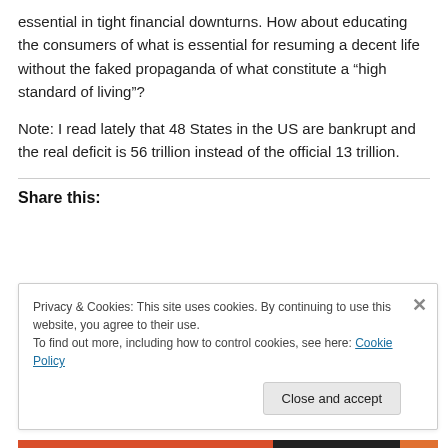essential in tight financial downturns.  How about educating the consumers of what is essential for resuming a decent life without the faked propaganda of what constitute a “high standard of living”?
Note: I read lately that 48 States in the US are bankrupt and the real deficit is 56 trillion instead of the official 13 trillion.
Share this:
Privacy & Cookies: This site uses cookies. By continuing to use this website, you agree to their use.
To find out more, including how to control cookies, see here: Cookie Policy